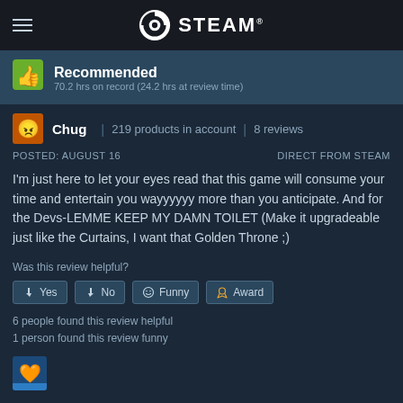STEAM
Recommended
70.2 hrs on record (24.2 hrs at review time)
Chug | 219 products in account | 8 reviews
POSTED: AUGUST 16   DIRECT FROM STEAM
I'm just here to let your eyes read that this game will consume your time and entertain you wayyyyyy more than you anticipate. And for the Devs-LEMME KEEP MY DAMN TOILET (Make it upgradeable just like the Curtains, I want that Golden Throne ;)
Was this review helpful?
Yes  No  Funny  Award
6 people found this review helpful
1 person found this review funny